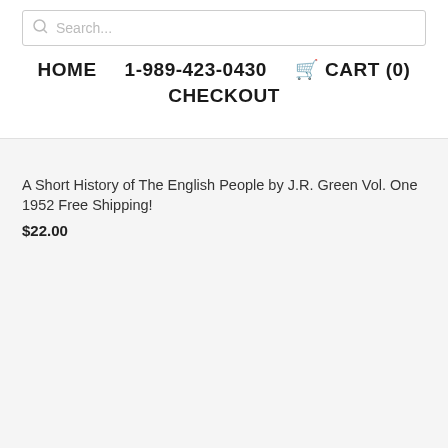Search...
HOME   1-989-423-0430   🛒 CART (0)   CHECKOUT
A Short History of The English People by J.R. Green Vol. One 1952 Free Shipping!
$22.00